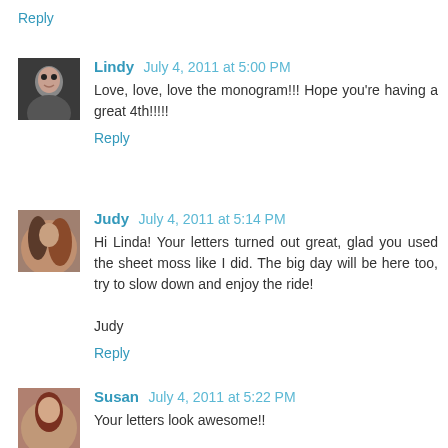Reply
Lindy July 4, 2011 at 5:00 PM
Love, love, love the monogram!!! Hope you're having a great 4th!!!!!
Reply
Judy July 4, 2011 at 5:14 PM
Hi Linda! Your letters turned out great, glad you used the sheet moss like I did. The big day will be here too, try to slow down and enjoy the ride!

Judy
Reply
Susan July 4, 2011 at 5:22 PM
Your letters look awesome!!